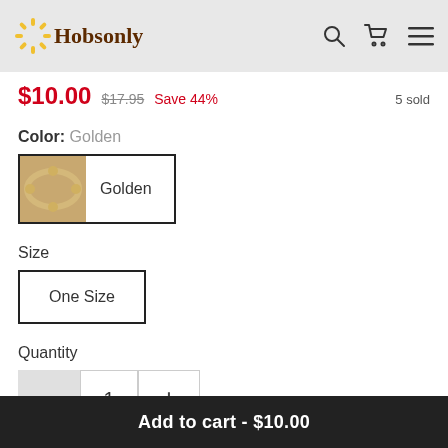[Figure (logo): Hobsonly logo with sunburst icon and serif text]
$10.00  $17.95  Save 44%  5 sold
Color: Golden
[Figure (photo): Golden bracelet thumbnail with label 'Golden']
Size
One Size
Quantity
1
Add to cart - $10.00